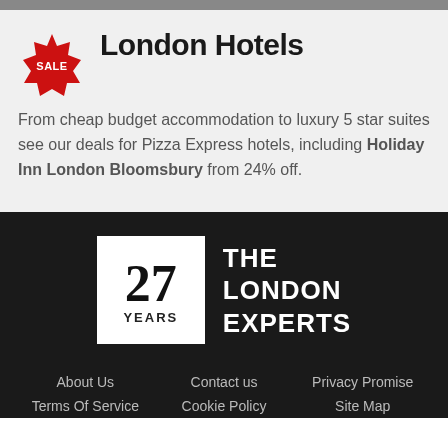London Hotels
From cheap budget accommodation to luxury 5 star suites see our deals for Pizza Express hotels, including Holiday Inn London Bloomsbury from 24% off.
[Figure (logo): 27 YEARS THE LONDON EXPERTS logo — white box with large '27' and 'YEARS' label beside text 'THE LONDON EXPERTS' in white on black background]
About Us   Contact us   Privacy Promise   Terms Of Service   Cookie Policy   Site Map